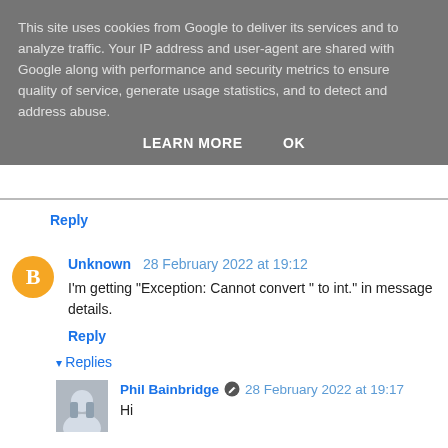This site uses cookies from Google to deliver its services and to analyze traffic. Your IP address and user-agent are shared with Google along with performance and security metrics to ensure quality of service, generate usage statistics, and to detect and address abuse.
LEARN MORE   OK
Reply
Unknown 28 February 2022 at 19:12
I'm getting "Exception: Cannot convert " to int." in message details.
Reply
Replies
Phil Bainbridge  28 February 2022 at 19:17
Hi